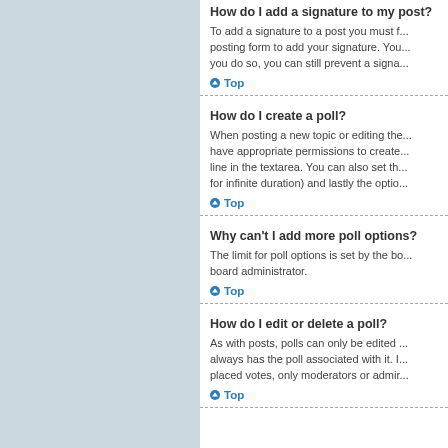How do I add a signature to my post?
To add a signature to a post you must first create one via your User Control Panel. Once created, you can check the Attach a signature box on the posting form to add your signature. You can also add a signature by default to all your posts by checking the appropriate radio button in the User Control Panel. If you do so, you can still prevent a signature being added to individual posts by un-checking the add signature box within the posting form.
Top
How do I create a poll?
When posting a new topic or editing the first post of a topic, click the "Poll creation" tab below the main posting form; if you cannot see this, you do not have appropriate permissions to create polls. Enter a title and at least two options in the appropriate fields, making sure each option is on a separate line in the textarea. You can also set the number of options users may select during voting under "Options per user", a time limit in days for the poll (0 for infinite duration) and lastly the option to allow users to amend their votes.
Top
Why can't I add more poll options?
The limit for poll options is set by the board administrator. If you feel you need to add more options to your poll than the allowed amount, contact the board administrator.
Top
How do I edit or delete a poll?
As with posts, polls can only be edited by the original poster, a moderator or an administrator. To edit a poll, click to edit the first post in the topic; this always has the poll associated with it. If no one has cast a vote, users can delete the poll or edit any poll option. However, if members have already placed votes, only moderators or administrators can edit or delete it.
Top